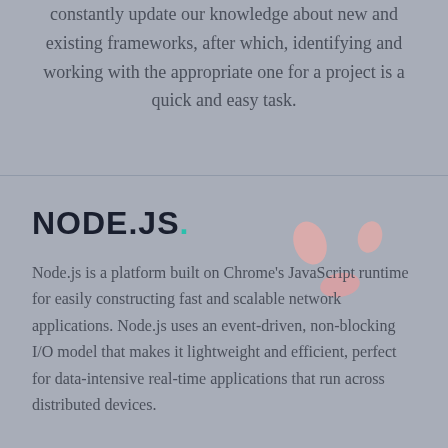constantly update our knowledge about new and existing frameworks, after which, identifying and working with the appropriate one for a project is a quick and easy task.
NODE.JS.
Node.js is a platform built on Chrome's JavaScript runtime for easily constructing fast and scalable network applications. Node.js uses an event-driven, non-blocking I/O model that makes it lightweight and efficient, perfect for data-intensive real-time applications that run across distributed devices.